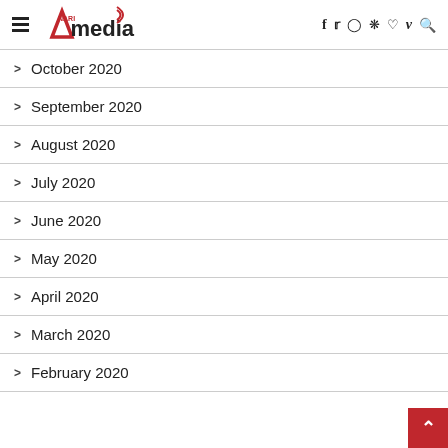NARI Amedia — navigation header with social icons
October 2020
September 2020
August 2020
July 2020
June 2020
May 2020
April 2020
March 2020
February 2020